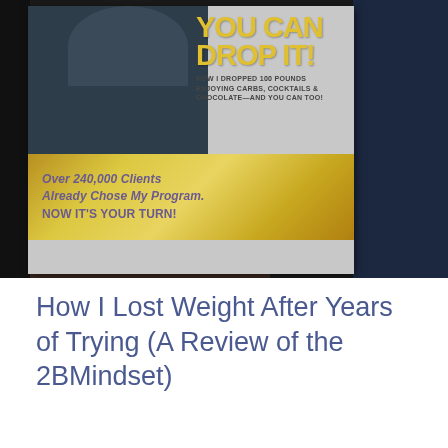[Figure (photo): Photograph of a book titled 'YOU CAN DROP IT! How I Dropped 100 Pounds Enjoying Carbs, Cocktails & Chocolate—And You Can Too!' with a gold band reading 'Over 240,000 Clients Already Chose My Program. NOW IT'S YOUR TURN!' The book is set against a dark fabric background with denim visible on the right.]
How I Lost Weight After Years of Trying (A Review of the 2BMindset)